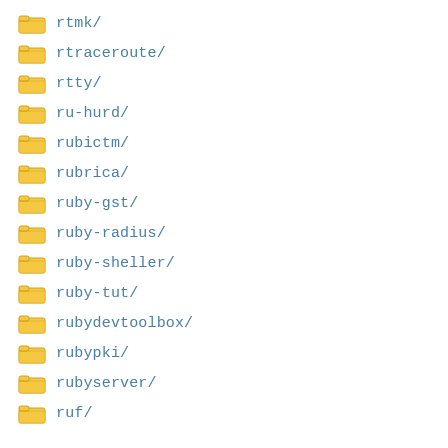rtmk/
rtraceroute/
rtty/
ru-hurd/
rubictm/
rubrica/
ruby-gst/
ruby-radius/
ruby-sheller/
ruby-tut/
rubydevtoolbox/
rubypki/
rubyserver/
ruf/